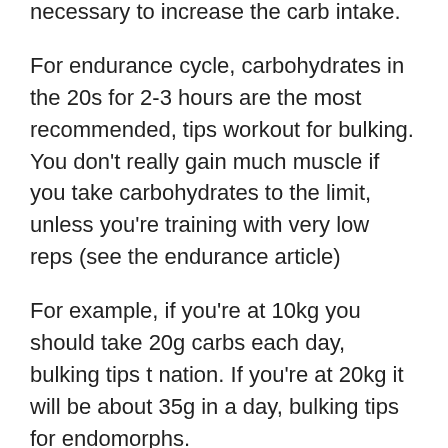necessary to increase the carb intake.
For endurance cycle, carbohydrates in the 20s for 2-3 hours are the most recommended, tips workout for bulking. You don't really gain much muscle if you take carbohydrates to the limit, unless you're training with very low reps (see the endurance article)
For example, if you're at 10kg you should take 20g carbs each day, bulking tips t nation. If you're at 20kg it will be about 35g in a day, bulking tips for endomorphs.
You would only have to eat 40g per day per day, bulking tips for hardgainers. A 40g serving of oatmeal would contain around 50 calories. One serving of chocolate or almond butter contains about 2.5